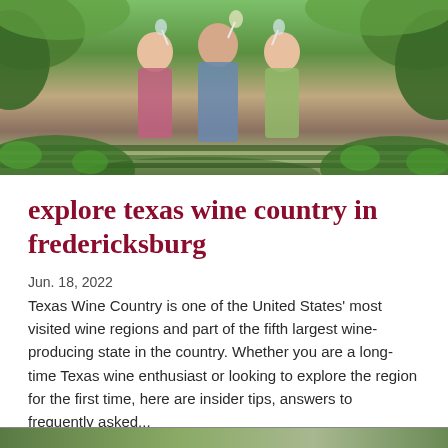[Figure (photo): People standing among vineyard vines, toasting with wine glasses, surrounded by green leaves]
explore texas wine country in fredericksburg
Jun. 18, 2022
Texas Wine Country is one of the United States' most visited wine regions and part of the fifth largest wine-producing state in the country. Whether you are a long-time Texas wine enthusiast or looking to explore the region for the first time, here are insider tips, answers to frequently asked...
Continue Reading